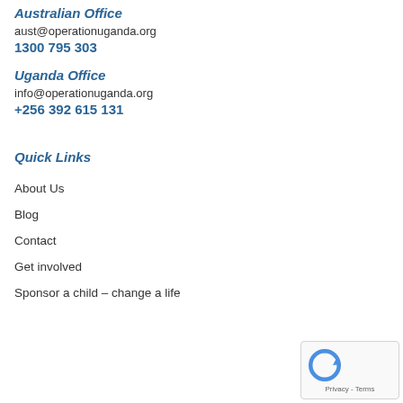Australian Office
aust@operationuganda.org
1300 795 303
Uganda Office
info@operationuganda.org
+256 392 615 131
Quick Links
About Us
Blog
Contact
Get involved
Sponsor a child – change a life